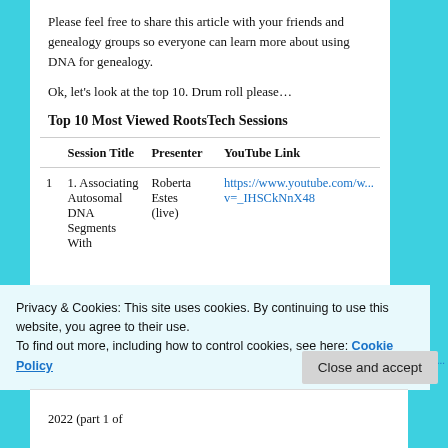Please feel free to share this article with your friends and genealogy groups so everyone can learn more about using DNA for genealogy.
Ok, let's look at the top 10. Drum roll please…
Top 10 Most Viewed RootsTech Sessions
|  | Session Title | Presenter | YouTube Link |
| --- | --- | --- | --- |
| 1 | 1. Associating Autosomal DNA Segments With | Roberta Estes (live) | https://www.youtube.com/w... v=_IHSCkNnX48 |
Privacy & Cookies: This site uses cookies. By continuing to use this website, you agree to their use.
To find out more, including how to control cookies, see here: Cookie Policy
Close and accept
2022 (part 1 of